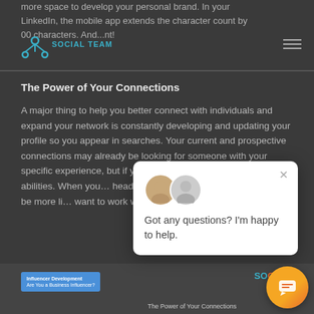more space to develop your personal brand. In your LinkedIn, the mobile app extends the character count by 00 characters. And...nt!
[Figure (logo): Social Team logo — teal fork/trident icon]
SOCIAL TEAM
The Power of Your Connections
A major thing to help you better connect with individuals and expand your network is constantly developing and updating your profile so you appear in searches. Your current and prospective connections may already be looking for someone with your specific experience, but if you give a generic title or... your abilities. When your... headline, it makes you m... They will also be more li... want to work with you.
[Figure (screenshot): Chat popup overlay with two avatars and text: Got any questions? I'm happy to help.]
[Figure (screenshot): Bottom strip showing article preview with Influencer Development badge and Social logo, caption: The Power of Your Connections]